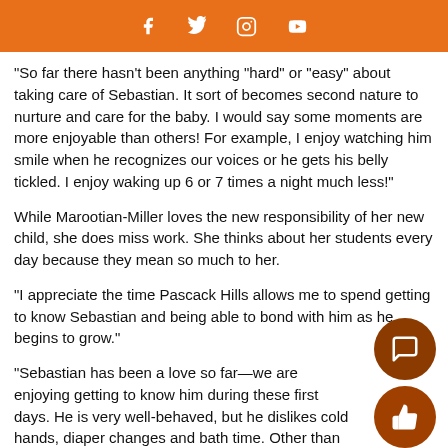Social media icons: Facebook, Twitter, Instagram, YouTube
"So far there hasn't been anything "hard" or "easy" about taking care of Sebastian.  It sort of becomes second nature to nurture and care for the baby. I would say some moments are more enjoyable than others! For example, I enjoy watching him smile when he recognizes our voices or he gets his belly tickled.  I enjoy waking up 6 or 7 times a night much less!"
While Marootian-Miller loves the new responsibility of her new child, she does miss work. She thinks about her students every day because they mean so much to her.
"I appreciate the time Pascack Hills allows me to spend getting to know Sebastian and being able to bond with him as he begins to grow."
"Sebastian has been a love so far—we are enjoying getting to know him during these first days.  He is very well-behaved, but he dislikes cold hands, diaper changes and bath time. Other than that, he smiles."